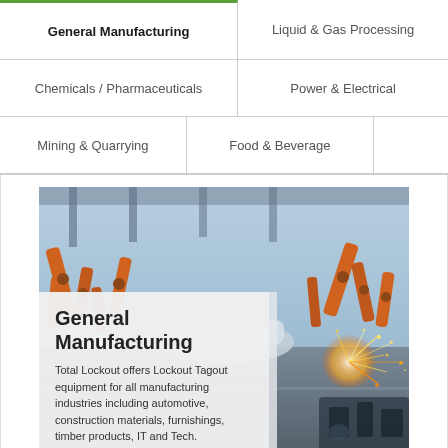General Manufacturing
Liquid & Gas Processing
Chemicals / Pharmaceuticals
Power & Electrical
Mining & Quarrying
Food & Beverage
[Figure (photo): Manufacturing facility with robotic arms assembling cars on one side and grinding sparks on the other, with a semi-transparent overlay showing 'General Manufacturing' title and descriptive text]
General Manufacturing
Total Lockout offers Lockout Tagout equipment for all manufacturing industries including automotive, construction materials, furnishings, timber products, IT and Tech.